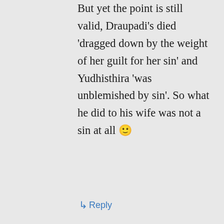But yet the point is still valid, Draupadi's died 'dragged down by the weight of her guilt for her sin' and Yudhisthira 'was unblemished by sin'. So what he did to his wife was not a sin at all 🙂
↳ Reply
Amit on November 6, 2012 at 2:44 pm
//Yudhisthira was unblemished by sin. I wonder what was Draupadi's sin? Aarrghh, our mythology is such a bag of